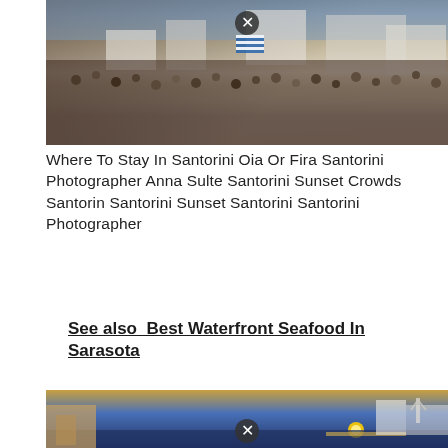[Figure (photo): Aerial view of crowded Santorini sunset scene with white buildings, Greek flag, and large crowd of tourists on terraces and rooftops]
Where To Stay In Santorini Oia Or Fira Santorini Photographer Anna Sulte Santorini Sunset Crowds Santorin Santorini Sunset Santorini Santorini Photographer
See also  Best Waterfront Seafood In Sarasota
[Figure (photo): Sunset view of Santorini with golden sky, blue sea, white buildings and windmill silhouette]